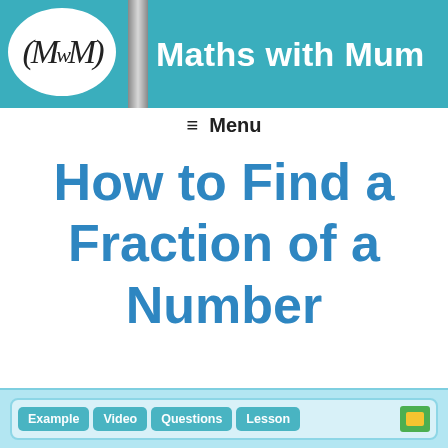Maths with Mum
≡ Menu
How to Find a Fraction of a Number